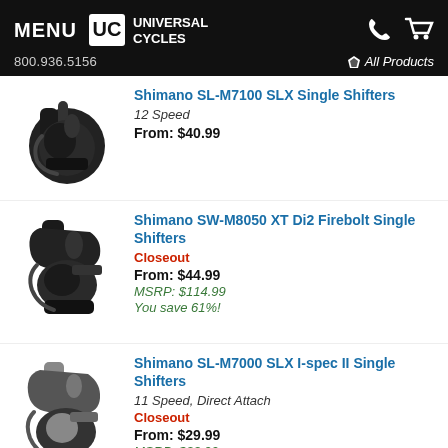MENU | Universal Cycles | 800.936.5156 | All Products
[Figure (photo): Shimano SL-M7100 SLX Single Shifter - black bicycle shifter component]
Shimano SL-M7100 SLX Single Shifters
12 Speed
From: $40.99
[Figure (photo): Shimano SW-M8050 XT Di2 Firebolt Single Shifter - black bicycle shifter component]
Shimano SW-M8050 XT Di2 Firebolt Single Shifters
Closeout
From: $44.99
MSRP: $114.99
You save 61%!
[Figure (photo): Shimano SL-M7000 SLX I-spec II Single Shifter - black and silver bicycle shifter component]
Shimano SL-M7000 SLX I-spec II Single Shifters
11 Speed, Direct Attach
Closeout
From: $29.99
MSRP: $33.99
You save 12%!